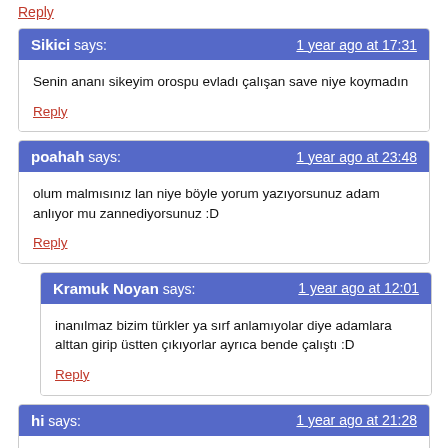Reply
Sikici says: 1 year ago at 17:31
Senin ananı sikeyim orospu evladı çalışan save niye koymadın
Reply
poahah says: 1 year ago at 23:48
olum malmısınız lan niye böyle yorum yazıyorsunuz adam anlıyor mu zannediyorsunuz :D
Reply
Kramuk Noyan says: 1 year ago at 12:01
inanılmaz bizim türkler ya sırf anlamıyolar diye adamlara alttan girip üstten çıkıyorlar ayrıca bende çalıştı :D
Reply
hi says: 1 year ago at 21:28